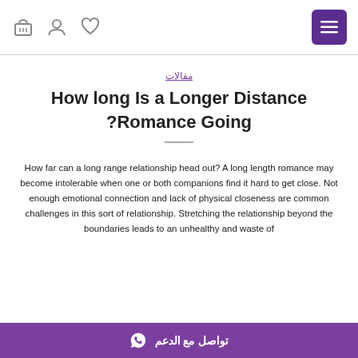Header bar with basket, user, heart icons and menu button
مقالات
How long Is a Longer Distance Romance Going?
How far can a long range relationship head out? A long length romance may become intolerable when one or both companions find it hard to get close. Not enough emotional connection and lack of physical closeness are common challenges in this sort of relationship. Stretching the relationship beyond the boundaries leads to an unhealthy and waste of a healthy relationship including a...
تواصل مع الدعم